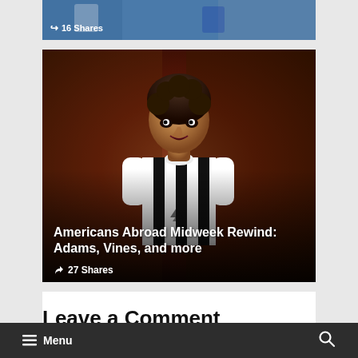[Figure (photo): Partial top image strip showing a soccer match scene with players in blue and white jerseys, with '16 Shares' label overlaid at bottom left]
[Figure (photo): Soccer player in white and black striped jersey (Tyler Adams) looking to the side, with dark reddish-brown blurred background. Text overlay reads 'Americans Abroad Midweek Rewind: Adams, Vines, and more' and '27 Shares']
Americans Abroad Midweek Rewind: Adams, Vines, and more
27 Shares
Leave a Comment
Menu